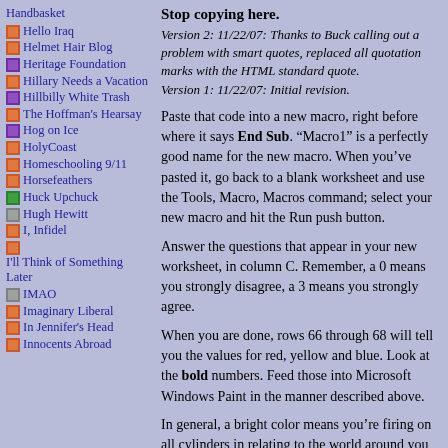Handbasket
Hello Iraq
Helmet Hair Blog
Heritage Foundation
Hillary Needs a Vacation
Hillbilly White Trash
The Hoffman's Hearsay
Hog on Ice
HolyCoast
Homeschooling 9/11
Horsefeathers
Huck Upchuck
Hugh Hewitt
I, Infidel
I'll Think of Something Later
IMAO
Imaginary Liberal
In Jennifer's Head
Innocents Abroad
Stop copying here.
Version 2: 11/22/07: Thanks to Buck calling out a problem with smart quotes, replaced all quotation marks with the HTML standard quote. Version 1: 11/22/07: Initial revision.
Paste that code into a new macro, right before where it says End Sub. “Macro1” is a perfectly good name for the new macro. When you’ve pasted it, go back to a blank worksheet and use the Tools, Macro, Macros command; select your new macro and hit the Run push button.
Answer the questions that appear in your new worksheet, in column C. Remember, a 0 means you strongly disagree, a 3 means you strongly agree.
When you are done, rows 66 through 68 will tell you the values for red, yellow and blue. Look at the bold numbers. Feed those into Microsoft Windows Paint in the manner described above.
In general, a bright color means you’re firing on all cylinders in relating to the world around you and are probably a “bright” person. A greenish tint means you’re Yang, and you tend to relate to the world as part of a community; you could compare